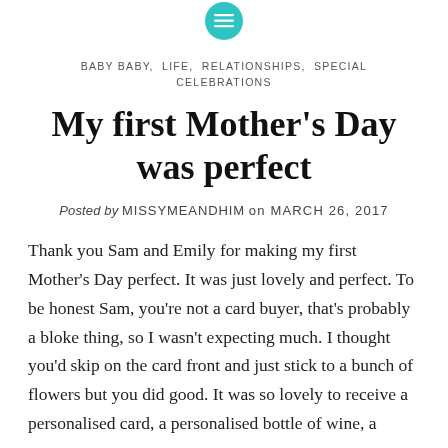BABY BABY, LIFE, RELATIONSHIPS, SPECIAL CELEBRATIONS
My first Mother’s Day was perfect
Posted by MISSYMEANDHIM on MARCH 26, 2017
Thank you Sam and Emily for making my first Mother’s Day perfect. It was just lovely and perfect. To be honest Sam, you’re not a card buyer, that’s probably a bloke thing, so I wasn’t expecting much. I thought you’d skip on the card front and just stick to a bunch of flowers but you did good. It was so lovely to receive a personalised card, a personalised bottle of wine, a